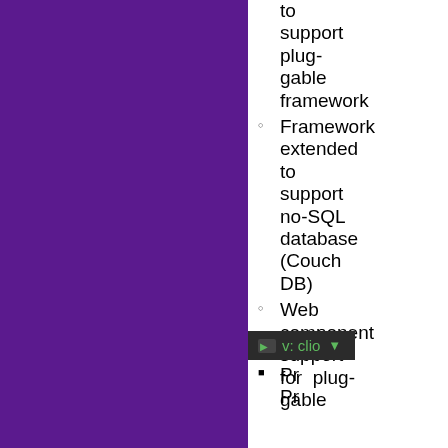[Figure (illustration): Purple/violet solid color block occupying the left portion of the page]
to support plug-gable framework
Framework extended to support no-SQL database (CouchDB)
Web component support for plug-gable
Pre Pre M (partially visible, cut off)